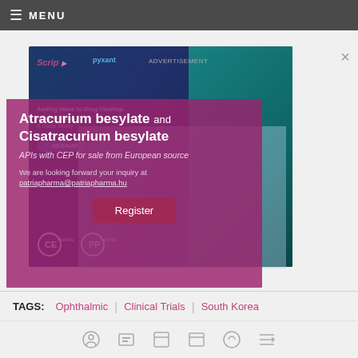MENU
Sylentis S.A.U.
[Figure (screenshot): Overlapping advertisement popups: background shows a Scrip/pyxant webinar ad with dark blue/teal gradient. Foreground shows a pink/magenta overlay ad for Patria Pharma promoting Atracurium besylate and Cisatracurium besylate APIs with CEP for sale from European source, with Register button and CE Pharma/PP logos. A light blue semi-transparent overlay partially covers both ads. Close X button visible top right.]
TAGS:
Ophthalmic
Clinical Trials
South Korea